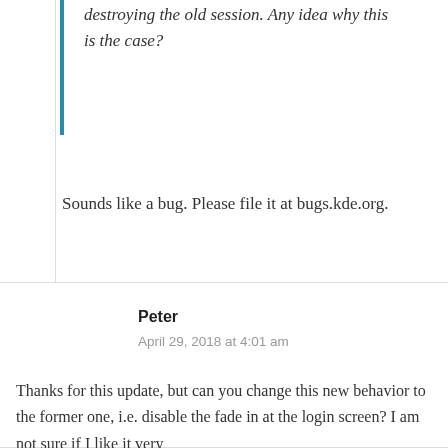destroying the old session. Any idea why this is the case?
Sounds like a bug. Please file it at bugs.kde.org.
Like
Reply
Peter
April 29, 2018 at 4:01 am
Thanks for this update, but can you change this new behavior to the former one, i.e. disable the fade in at the login screen? I am not sure if I like it very